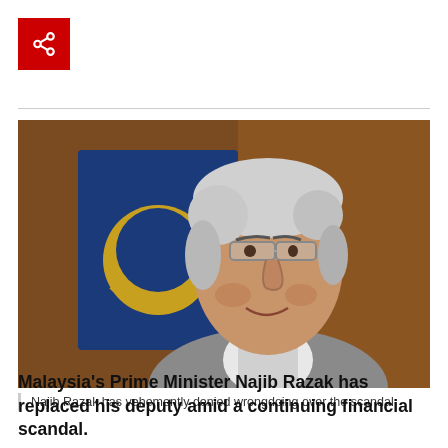[Figure (photo): Red share button icon in top left corner]
[Figure (photo): Photo of Najib Razak, Malaysia's Prime Minister, an older Asian man with white hair and glasses, smiling slightly, with a blue and gold Malaysian emblem visible in the blurred background. AP photo credit shown in lower left.]
Najib Razak has vehemently denied wrongdoing over the scandal
Malaysia's Prime Minister Najib Razak has replaced his deputy amid a continuing financial scandal.